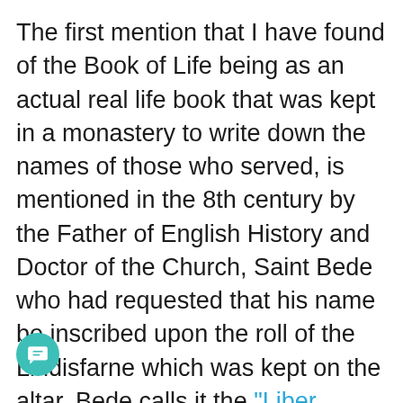The first mention that I have found of the Book of Life being as an actual real life book that was kept in a monastery to write down the names of those who served, is mentioned in the 8th century by the Father of English History and Doctor of the Church, Saint Bede who had requested that his name be inscribed upon the roll of the Lindisfarne which was kept on the altar. Bede calls it the “Liber Vitae,” Latin for the “Book of Life.” One of these books survives to this day, and is known as the Durham Liber Vitae which has been dated to approximately the 8th and 9th centuries. You will find on the Liber Vitae,